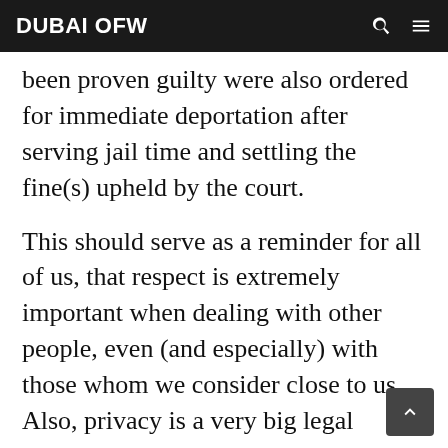DUBAI OFW
been proven guilty were also ordered for immediate deportation after serving jail time and settling the fine(s) upheld by the court.
This should serve as a reminder for all of us, that respect is extremely important when dealing with other people, even (and especially) with those whom we consider close to us. Also, privacy is a very big legal